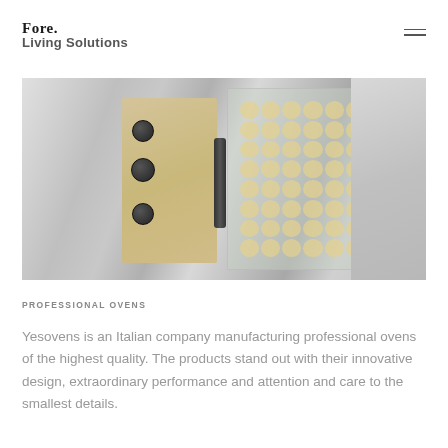Fore. Living Solutions
[Figure (photo): Close-up photo of professional convection oven with control knobs on a champagne-colored panel, glass door showing internal rack with lights, and adjacent refrigeration unit, all in stainless steel finish]
PROFESSIONAL OVENS
Yesovens is an Italian company manufacturing professional ovens of the highest quality. The products stand out with their innovative design, extraordinary performance and attention and care to the smallest details.